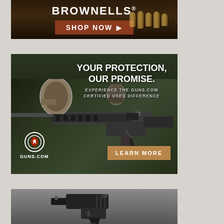[Figure (photo): Brownells advertisement banner with dark background showing bullets/ammunition, white bold text BROWNELLS with registered trademark symbol, and a brown SHOP NOW button with arrow]
[Figure (photo): Guns.com advertisement showing a person holding an AR-style rifle with scope, white bold text YOUR PROTECTION, OUR PROMISE. and smaller text EXPERIENCE THE GUNS.COM CERTIFIED USED DIFFERENCE, with Guns.com logo at bottom left and a tan LEARN MORE button at bottom right]
[Figure (photo): Partial advertisement at bottom of page showing a handgun/pistol on a gray background, cropped at bottom of page]